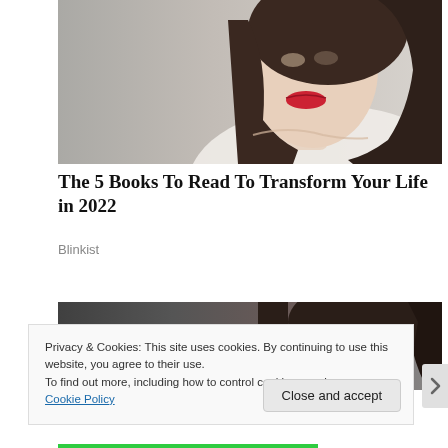[Figure (photo): Photo of a young woman with dark hair pulled back, red lips, wearing a white top, photographed against a grey background]
The 5 Books To Read To Transform Your Life in 2022
Blinkist
[Figure (photo): Partial photo of a woman with dark hair wearing a striped top against a dark background]
Privacy & Cookies: This site uses cookies. By continuing to use this website, you agree to their use.
To find out more, including how to control cookies, see here:
Cookie Policy
Close and accept